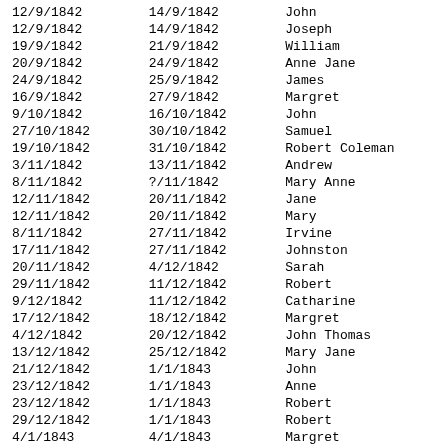| 12/9/1842 | 14/9/1842 | John |
| 12/9/1842 | 14/9/1842 | Joseph |
| 19/9/1842 | 21/9/1842 | William |
| 20/9/1842 | 24/9/1842 | Anne Jane |
| 24/9/1842 | 25/9/1842 | James |
| 16/9/1842 | 27/9/1842 | Margret |
| 9/10/1842 | 16/10/1842 | John |
| 27/10/1842 | 30/10/1842 | Samuel |
| 19/10/1842 | 31/10/1842 | Robert Coleman |
| 3/11/1842 | 13/11/1842 | Andrew |
| 8/11/1842 | ?/11/1842 | Mary Anne |
| 12/11/1842 | 20/11/1842 | Jane |
| 12/11/1842 | 20/11/1842 | Mary |
| 8/11/1842 | 27/11/1842 | Irvine |
| 17/11/1842 | 27/11/1842 | Johnston |
| 20/11/1842 | 4/12/1842 | Sarah |
| 29/11/1842 | 11/12/1842 | Robert |
| 9/12/1842 | 11/12/1842 | Catharine |
| 17/12/1842 | 18/12/1842 | Margret |
| 4/12/1842 | 20/12/1842 | John Thomas |
| 13/12/1842 | 25/12/1842 | Mary Jane |
| 21/12/1842 | 1/1/1843 | John |
| 23/12/1842 | 1/1/1843 | Anne |
| 23/12/1842 | 1/1/1843 | Robert |
| 29/12/1842 | 1/1/1843 | Robert |
| 4/1/1843 | 4/1/1843 | Margret |
| 25/12/1842 | 8/1/1843 | James |
| ?/12/1842 | 15/1/1843 | Jane |
| 15/1/1843 | 22/1/1843 | Mary Anne |
| 10/1/1843 | 23/1/1843 | Anne Jane |
| ?/1/1843 | 29/1/1843 | William Joh??? |